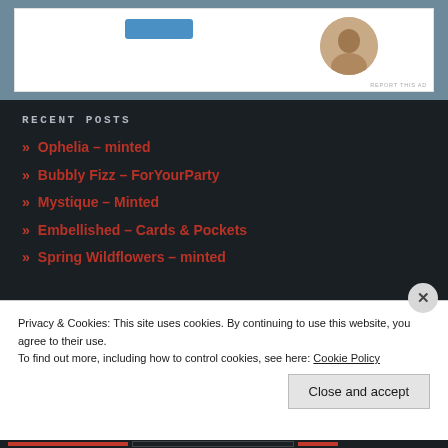[Figure (screenshot): Ad card with blue button and circular person photo on slate blue background]
RECENT POSTS
» Ophelia – minted
» Bubbly Fizz – ForYourParty
» Mystique – Minted
» Embellished – Cards & Pockets
» Spring Wildflowers – minted
Privacy & Cookies: This site uses cookies. By continuing to use this website, you agree to their use.
To find out more, including how to control cookies, see here: Cookie Policy